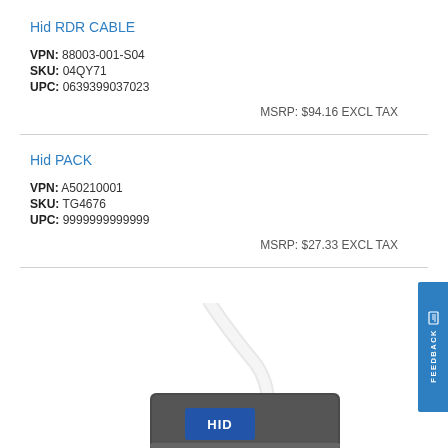Hid RDR CABLE
VPN: 88003-001-S04
SKU: 04QY71
UPC: 0639399037023
MSRP: $94.16 EXCL TAX
Hid PACK
VPN: A50210001
SKU: TG4676
UPC: 9999999999999
MSRP: $27.33 EXCL TAX
[Figure (photo): Photo of a HID card reader device with white cable, showing bottom portion of device]